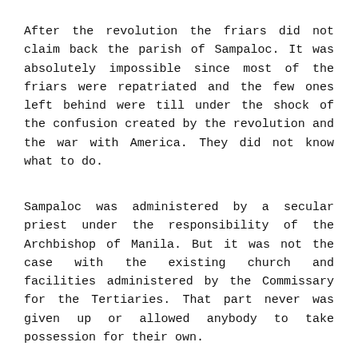After the revolution the friars did not claim back the parish of Sampaloc. It was absolutely impossible since most of the friars were repatriated and the few ones left behind were till under the shock of the confusion created by the revolution and the war with America. They did not know what to do.
Sampaloc was administered by a secular priest under the responsibility of the Archbishop of Manila. But it was not the case with the existing church and facilities administered by the Commissary for the Tertiaries. That part never was given up or allowed anybody to take possession for their own.